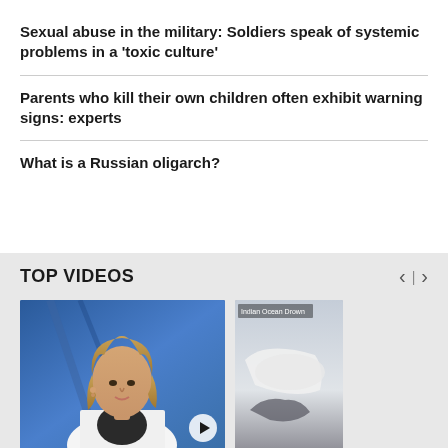Sexual abuse in the military: Soldiers speak of systemic problems in a 'toxic culture'
Parents who kill their own children often exhibit warning signs: experts
What is a Russian oligarch?
TOP VIDEOS
[Figure (photo): News anchor woman with blonde hair wearing white blazer, seated in front of blue studio background]
[Figure (photo): Partial view of second video thumbnail showing white object, labeled 'Indian Ocean Drown']